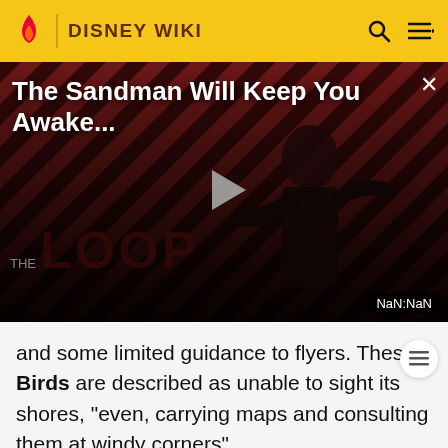DISNEY WIKI
[Figure (screenshot): Video thumbnail for 'The Sandman Will Keep You Awake...' showing a dark-clad figure against red diagonal striped background, with THE LOOP text, a play button, and NaN:NaN timestamp badge]
and some limited guidance to flyers. These Birds are described as unable to sight its shores, "even, carrying maps and consulting them at windy corners".
A half-magical bird called the Never Bird, is also very